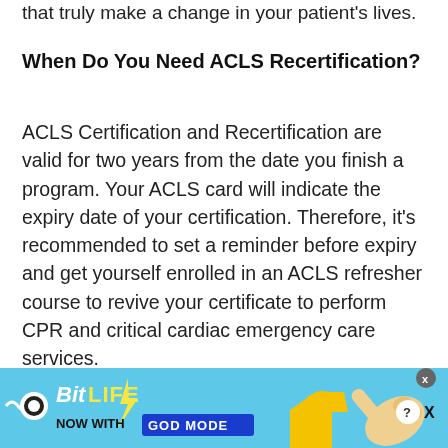that truly make a change in your patient's lives.
When Do You Need ACLS Recertification?
ACLS Certification and Recertification are valid for two years from the date you finish a program. Your ACLS card will indicate the expiry date of your certification. Therefore, it's recommended to set a reminder before expiry and get yourself enrolled in an ACLS refresher course to revive your certificate to perform CPR and critical cardiac emergency care services.
If your ACLS card has expired longer beyond the
[Figure (screenshot): BitLife mobile game advertisement banner with cyan background. Shows BitLife logo with sperm cell icon, 'BitLife NOW WITH GOD MODE' text, yellow lightning bolt, pointing hand/thumb illustration, close button and help button in top right corner.]